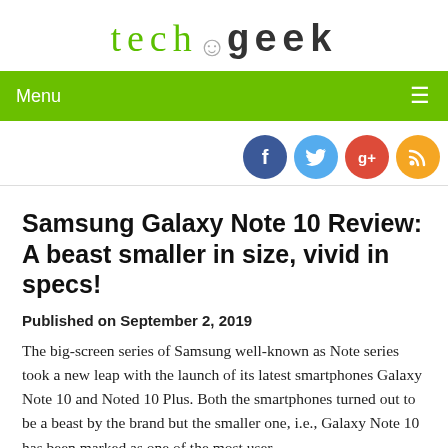tech&geek
Menu
[Figure (other): Social media icon buttons: Facebook (blue), Twitter (light blue), Google+ (red), RSS (orange)]
Samsung Galaxy Note 10 Review: A beast smaller in size, vivid in specs!
Published on September 2, 2019
The big-screen series of Samsung well-known as Note series took a new leap with the launch of its latest smartphones Galaxy Note 10 and Noted 10 Plus. Both the smartphones turned out to be a beast by the brand but the smaller one, i.e., Galaxy Note 10 has been marked as one of the most user-